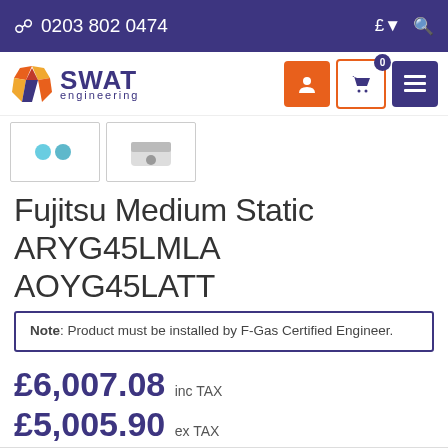0203 802 0474
[Figure (logo): SWAT Engineering logo with diamond-shaped icon in red and orange, company name in purple]
[Figure (photo): Two product thumbnail images of Fujitsu air conditioning units]
Fujitsu Medium Static ARYG45LMLA AOYG45LATT
Note: Product must be installed by F-Gas Certified Engineer.
£6,007.08 inc TAX
£5,005.90 ex TAX